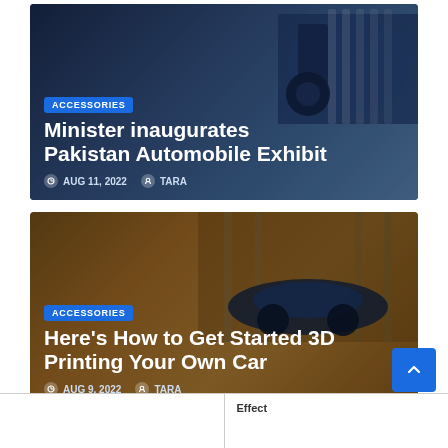[Figure (photo): Blue car close-up photo with white ribbons/cables, dark background, used as article card image]
ACCESSORIES
Minister inaugurates Pakistan Automobile Exhibit
AUG 11, 2022   TARA
[Figure (photo): Blue sports car on a bridge at sunset with golden sky background, used as article card image]
ACCESSORIES
Here's How to Get Started 3D Printing Your Own Car
AUG 9, 2022   TARA
|  | Effect |
| --- | --- |